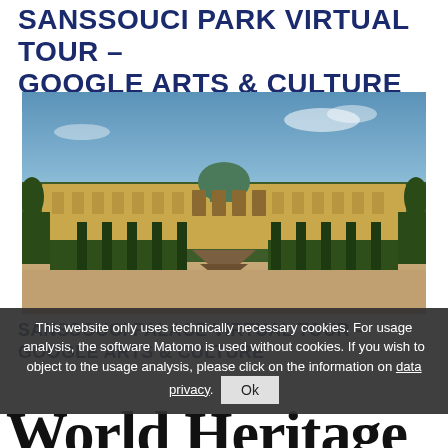SANSSOUCI PARK VIRTUAL TOUR – GOOGLE ARTS & CULTURE
[Figure (photo): Photograph of Sanssouci Palace in Potsdam, Germany, showing the Rococo facade with its green dome, terrace gardens with fountains, and a central staircase leading up through hedgerows under a blue sky.]
SANSSOUCI PALACE VIRTUAL TOUR – GOOGLE ARTS & CULTURE
This website only uses technically necessary cookies. For usage analysis, the software Matomo is used without cookies. If you wish to object to the usage analysis, please click on the information on data privacy.
World Heritage